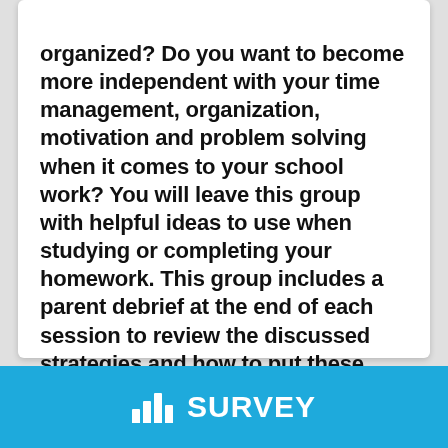organized? Do you want to become more independent with your time management, organization, motivation and problem solving when it comes to your school work? You will leave this group with helpful ideas to use when studying or completing your homework. This group includes a parent debrief at the end of each session to review the discussed strategies and how to put these ideas into practice.
SURVEY